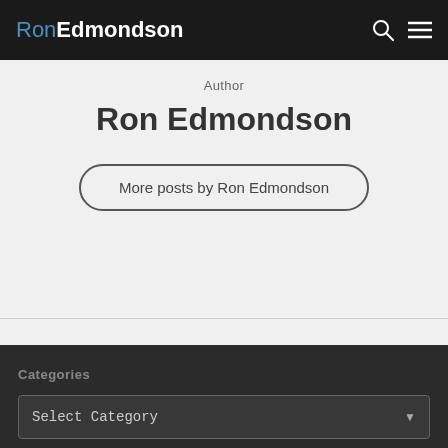RonEdmondson
Author
Ron Edmondson
More posts by Ron Edmondson
Categories
Select Category